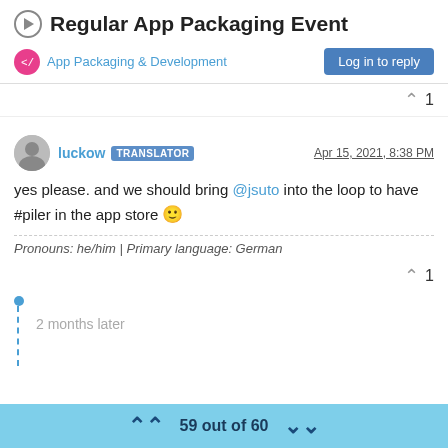Regular App Packaging Event
App Packaging & Development
Log in to reply
luckow TRANSLATOR Apr 15, 2021, 8:38 PM
yes please. and we should bring @jsuto into the loop to have #piler in the app store 🙂
Pronouns: he/him | Primary language: German
2 months later
59 out of 60